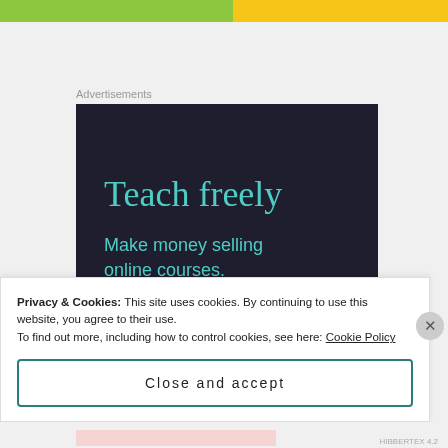[Figure (other): Top navigation bar with green and yellow sections]
Advertisements
[Figure (illustration): Advertisement banner with dark navy background. Large teal text reads 'Teach freely' followed by smaller teal text 'Make money selling online courses.']
Privacy & Cookies: This site uses cookies. By continuing to use this website, you agree to their use.
To find out more, including how to control cookies, see here: Cookie Policy
Close and accept